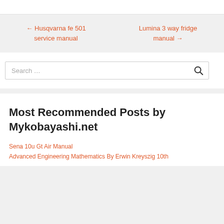← Husqvarna fe 501 service manual
Lumina 3 way fridge manual →
Search …
Most Recommended Posts by Mykobayashi.net
Sena 10u Gt Air Manual
Advanced Engineering Mathematics By Erwin Kreyszig 10th